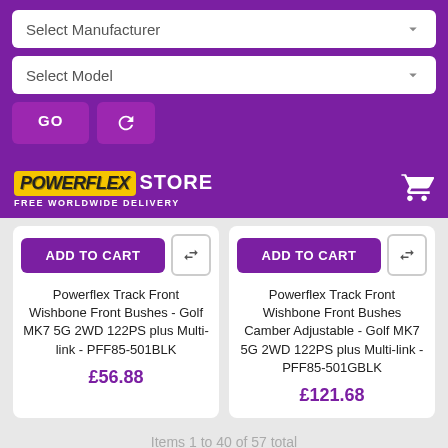[Figure (screenshot): Select Manufacturer dropdown UI element]
[Figure (screenshot): Select Model dropdown UI element]
[Figure (screenshot): GO and refresh buttons]
[Figure (logo): Powerflex Store logo with FREE WORLDWIDE DELIVERY tagline and shopping cart icon]
ADD TO CART
Powerflex Track Front Wishbone Front Bushes - Golf MK7 5G 2WD 122PS plus Multi-link - PFF85-501BLK
£56.88
ADD TO CART
Powerflex Track Front Wishbone Front Bushes Camber Adjustable - Golf MK7 5G 2WD 122PS plus Multi-link - PFF85-501GBLK
£121.68
Items 1 to 40 of 57 total